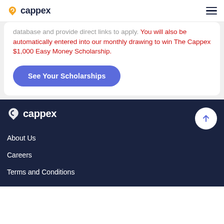cappex
database and provide direct links to apply. You will also be automatically entered into our monthly drawing to win The Cappex $1,000 Easy Money Scholarship.
See Your Scholarships
[Figure (logo): Cappex logo in white on dark navy footer background]
About Us
Careers
Terms and Conditions